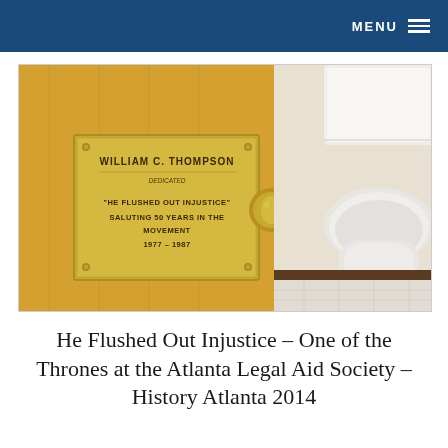MENU
[Figure (photo): A wooden bathroom stall door with a brass commemorative plaque reading 'WILLIAM C. THOMPSON — HE FLUSHED OUT INJUSTICE SALUTING 50 YEARS IN THE MOVEMENT 1977 – 1987', with a brass door knob. A white toilet is visible in the background.]
He Flushed Out Injustice – One of the Thrones at the Atlanta Legal Aid Society – History Atlanta 2014